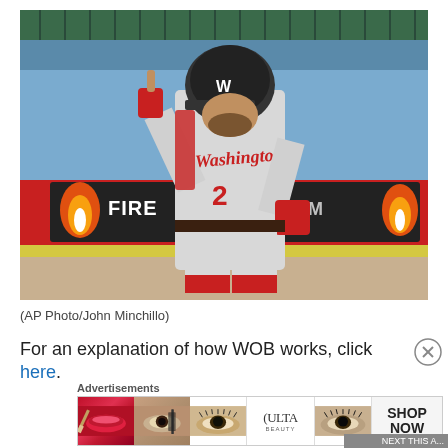[Figure (photo): Washington Nationals baseball player #2 wearing a grey Washington uniform, helmet, and sunglasses, pointing upward with one finger while running the bases. Red batting gloves and red arm sleeve visible. Stadium advertisement banners in background showing fire imagery.]
(AP Photo/John Minchillo)
For an explanation of how WOB works, click here.
Advertisements
[Figure (photo): ULTA Beauty advertisement banner showing close-up images of makeup and eyes with SHOP NOW call to action.]